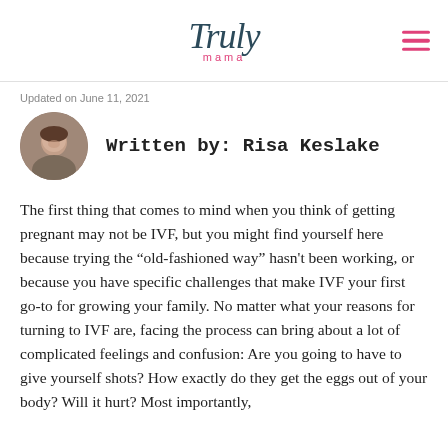Truly mama
Updated on June 11, 2021
[Figure (photo): Circular author headshot photo of Risa Keslake, a smiling woman with brown hair outdoors.]
Written by: Risa Keslake
The first thing that comes to mind when you think of getting pregnant may not be IVF, but you might find yourself here because trying the “old-fashioned way” hasn't been working, or because you have specific challenges that make IVF your first go-to for growing your family. No matter what your reasons for turning to IVF are, facing the process can bring about a lot of complicated feelings and confusion: Are you going to have to give yourself shots? How exactly do they get the eggs out of your body? Will it hurt? Most importantly,